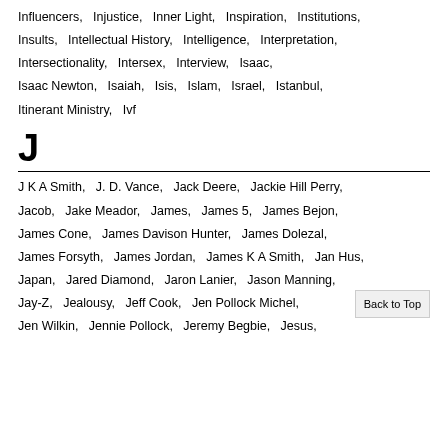Influencers, Injustice, Inner Light, Inspiration, Institutions, Insults, Intellectual History, Intelligence, Interpretation, Intersectionality, Intersex, Interview, Isaac, Isaac Newton, Isaiah, Isis, Islam, Israel, Istanbul, Itinerant Ministry, Ivf
J
J K A Smith, J. D. Vance, Jack Deere, Jackie Hill Perry, Jacob, Jake Meador, James, James 5, James Bejon, James Cone, James Davison Hunter, James Dolezal, James Forsyth, James Jordan, James K A Smith, Jan Hus, Japan, Jared Diamond, Jaron Lanier, Jason Manning, Jay-Z, Jealousy, Jeff Cook, Jen Pollock Michel, Jen Wilkin, Jennie Pollock, Jeremy Begbie, Jesus,